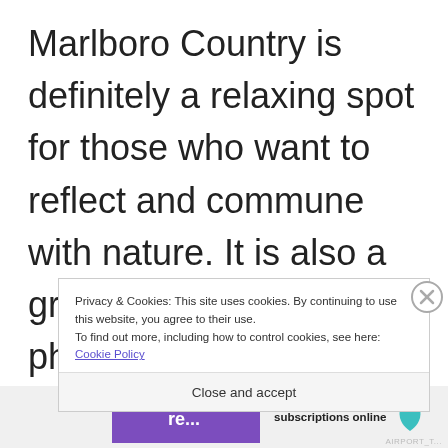Marlboro Country is definitely a relaxing spot for those who want to reflect and commune with nature. It is also a great place for photography. And yes, an awesome alternative to the now crowded K
Privacy & Cookies: This site uses cookies. By continuing to use this website, you agree to their use.
To find out more, including how to control cookies, see here: Cookie Policy
Close and accept
[Figure (screenshot): Bottom advertisement bar with purple button and 'subscriptions online' text and a teal leaf icon]